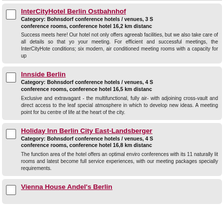InterCityHotel Berlin Ostbahnhof
Category: Bohnsdorf conference hotels / venues, 3 S conference rooms, conference hotel 16,2 km distance
Success meets here! Our hotel not only offers agreeable facilities, but we also take care of all details so that your meeting. For efficient and successful meetings, the InterCityHote conditions; six modern, air conditioned meeting rooms with a capacity for up
Innside Berlin
Category: Bohnsdorf conference hotels / venues, 4 S conference rooms, conference hotel 16,5 km distance
Exclusive and extravagant - the multifunctional, fully air- with adjoining cross-vault and direct access to the leaf special atmosphere in which to develop new ideas. A meeting point for bu centre of life at the heart of the city.
Holiday Inn Berlin City East-Landsberger
Category: Bohnsdorf conference hotels / venues, 4 S conference rooms, conference hotel 16,8 km distance
The function area of the hotel offers an optimal enviro conferences with its 11 naturally lit rooms and latest become full service experiences, with our meeting packages specially requirements.
Vienna House Andel's Berlin